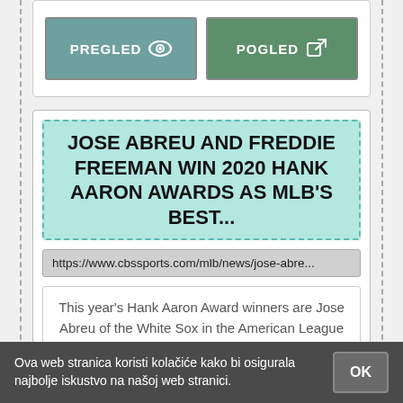[Figure (screenshot): Two UI buttons: PREGLED (teal) with eye icon and POGLED (green) with external link icon]
JOSE ABREU AND FREDDIE FREEMAN WIN 2020 HANK AARON AWARDS AS MLB'S BEST...
https://www.cbssports.com/mlb/news/jose-abre...
This year's Hank Aaron Award winners are Jose Abreu of the White Sox in the American League and Freddie Freeman of the Braves in the National League.
Ova web stranica koristi kolačiće kako bi osigurala najbolje iskustvo na našoj web stranici.